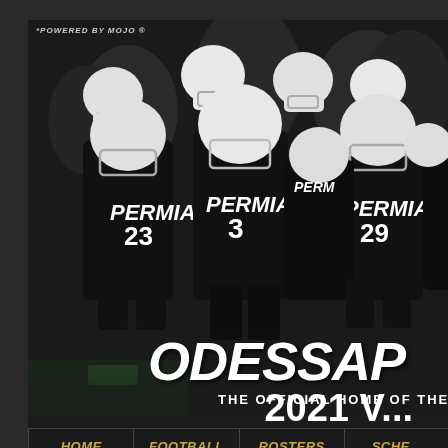[Figure (photo): Banner image showing Permian football players in black uniforms and white helmets running toward camera, with 'ODESSA' text in large italic white font and 'THE OFFICIAL HOME OF THE SIX-T...' tagline below. Powered by Mojo logo in top left corner.]
HOME | FOOTBALL | ROSTERS | SCHE... | GAMEDAY | LIVESTREAM | ARTICLES | FAC...
2021 V...